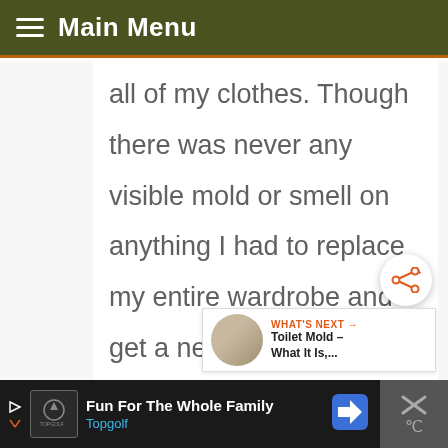Main Menu
all of my clothes. Though there was never any visible mold or smell on anything I had to replace my entire wardrobe and get a new washer. A year later and we thought we were doing
[Figure (other): Share button icon (circular white button with orange share/network icon)]
[Figure (other): What's Next panel showing thumbnail image with text: WHAT'S NEXT → Toilet Mold – What It Is,...]
[Figure (other): Advertisement bar at bottom: Fun For The Whole Family - Topgolf, with navigation icon and close button]